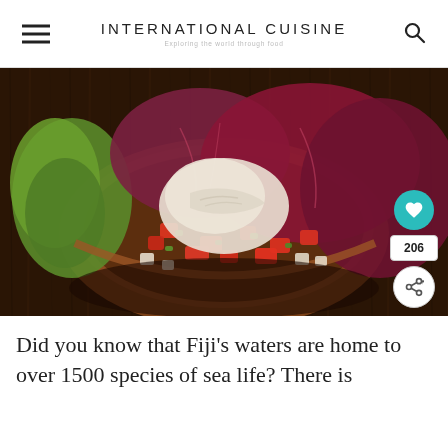INTERNATIONAL CUISINE | Exploring the world through food
[Figure (photo): A wooden bowl filled with Fijian kokoda (fish ceviche) with diced tomatoes, green onions, and white fish pieces, surrounded by purple and green lettuce leaves on a rustic dark wood surface.]
Did you know that Fiji's waters are home to over 1500 species of sea life?  There is